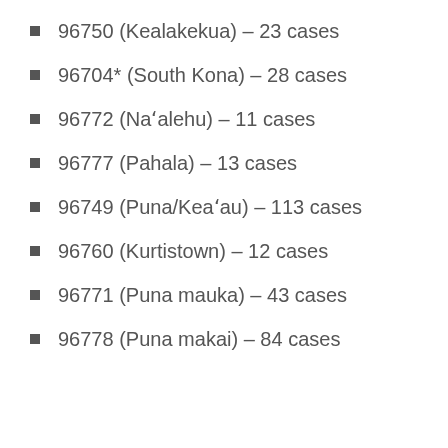96750 (Kealakekua) – 23 cases
96704* (South Kona) – 28 cases
96772 (Naʻalehu) – 11 cases
96777 (Pahala) – 13 cases
96749 (Puna/Keaʻau) – 113 cases
96760 (Kurtistown) – 12 cases
96771 (Puna mauka) – 43 cases
96778 (Puna makai) – 84 cases